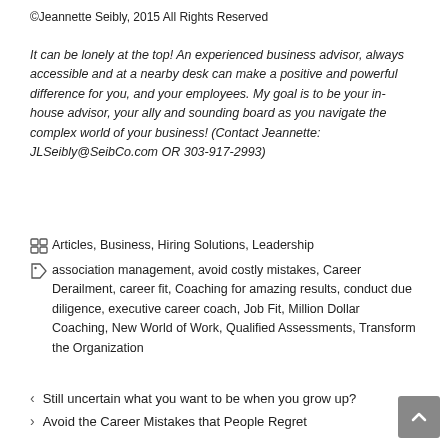©Jeannette Seibly, 2015 All Rights Reserved
It can be lonely at the top! An experienced business advisor, always accessible and at a nearby desk can make a positive and powerful difference for you, and your employees. My goal is to be your in-house advisor, your ally and sounding board as you navigate the complex world of your business! (Contact Jeannette: JLSeibly@SeibCo.com OR 303-917-2993)
Articles, Business, Hiring Solutions, Leadership
association management, avoid costly mistakes, Career Derailment, career fit, Coaching for amazing results, conduct due diligence, executive career coach, Job Fit, Million Dollar Coaching, New World of Work, Qualified Assessments, Transform the Organization
Still uncertain what you want to be when you grow up?
Avoid the Career Mistakes that People Regret